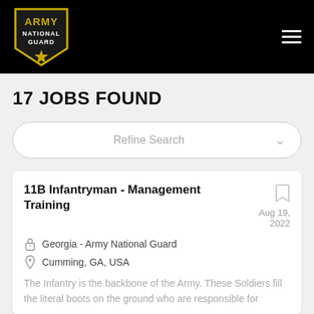Army National Guard
17 JOBS FOUND
Refine Search
11B Infantryman - Management Training
Aug 19, 2022
Georgia - Army National Guard
Cumming, GA, USA
The Infantry is the backbone of the Army. These Soldiers fill the literal boots on the ground who are responsible for